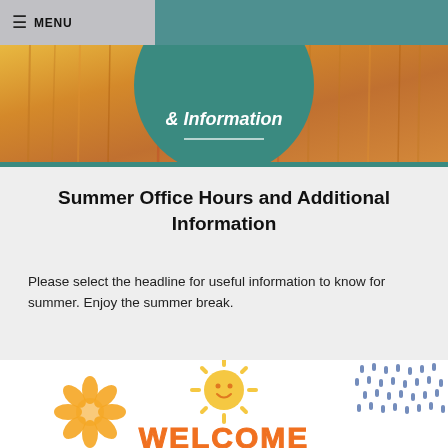≡ MENU
[Figure (illustration): Hero banner image showing a warm golden wheat/grass field background with a teal circle overlay containing white text '& Information' and a horizontal white line beneath it.]
Summer Office Hours and Additional Information
Please select the headline for useful information to know for summer. Enjoy the summer break.
[Figure (illustration): Decorative summer-themed illustration section showing: a yellow daisy flower outline (left), a smiling yellow sun (center), blue rain drop pattern (right), and partial 'WELCOME' text in orange at the bottom.]